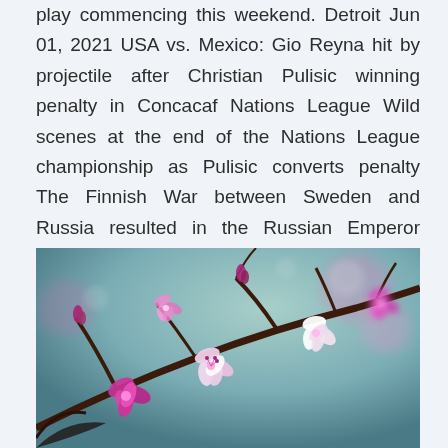play commencing this weekend. Detroit Jun 01, 2021 USA vs. Mexico: Gio Reyna hit by projectile after Christian Pulisic winning penalty in Concacaf Nations League Wild scenes at the end of the Nations League championship as Pulisic converts penalty The Finnish War between Sweden and Russia resulted in the Russian Emperor becoming the Duke of the Grand Duchy of Finland, an autonomous part of the Russian Empire from 1809 to 1917.
[Figure (photo): Close-up photograph of cherry blossom flowers on branches with pink and white blooms against a blurred teal/blue background.]